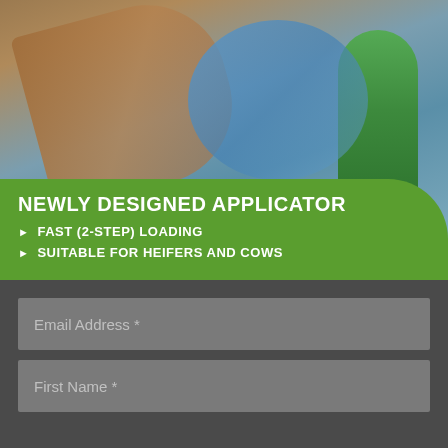[Figure (photo): Person wearing blue gloves handling a brown ear tag applicator tool with green applicator device, agricultural livestock tagging equipment]
NEWLY DESIGNED APPLICATOR
FAST (2-STEP) LOADING
SUITABLE FOR HEIFERS AND COWS
Email Address *
First Name *